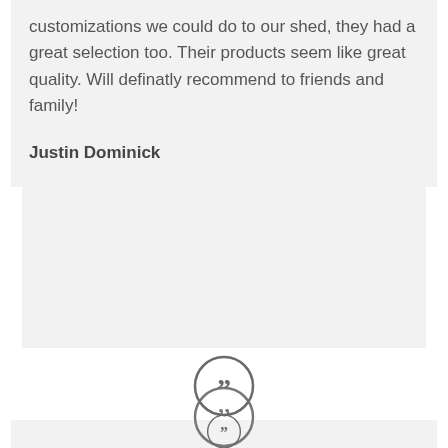customizations we could do to our shed, they had a great selection too. Their products seem like great quality. Will definatly recommend to friends and family!
Justin Dominick
[Figure (illustration): Quotation mark icon inside a circle, gray]
Great place for all of your outdoor needs. The kids love their new play set and my wife and I enjoy the glider. See you this fall for a shed!
Eric Brown
[Figure (illustration): Quotation mark icon inside a circle, gray, partially visible at bottom]